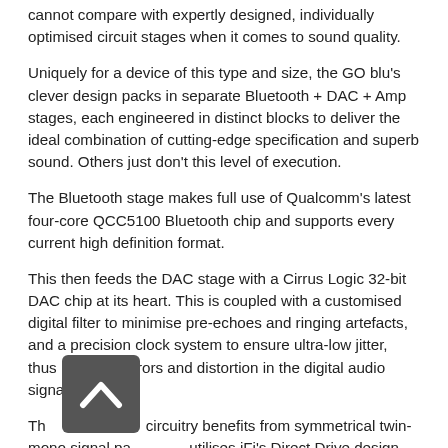cannot compare with expertly designed, individually optimised circuit stages when it comes to sound quality.
Uniquely for a device of this type and size, the GO blu's clever design packs in separate Bluetooth + DAC + Amp stages, each engineered in distinct blocks to deliver the ideal combination of cutting-edge specification and superb sound. Others just don't this level of execution.
The Bluetooth stage makes full use of Qualcomm's latest four-core QCC5100 Bluetooth chip and supports every current high definition format.
This then feeds the DAC stage with a Cirrus Logic 32-bit DAC chip at its heart. This is coupled with a customised digital filter to minimise pre-echoes and ringing artefacts, and a precision clock system to ensure ultra-low jitter, thus reducing errors and distortion in the digital audio signal.
The amp circuitry benefits from symmetrical twin-mono signal path and utilises iFi's Direct Drive design concept – direct-coupled to ensure a clean signal path without distortion-inducing output coupling capacitors. The amp stage delivers